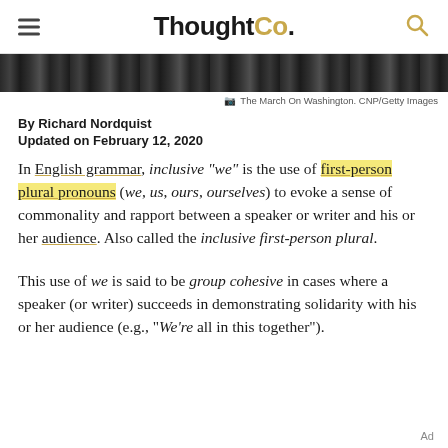ThoughtCo.
[Figure (photo): Black and white photograph strip showing a crowd scene, The March On Washington. CNP/Getty Images]
The March On Washington. CNP/Getty Images
By Richard Nordquist
Updated on February 12, 2020
In English grammar, inclusive "we" is the use of first-person plural pronouns (we, us, ours, ourselves) to evoke a sense of commonality and rapport between a speaker or writer and his or her audience. Also called the inclusive first-person plural.
This use of we is said to be group cohesive in cases where a speaker (or writer) succeeds in demonstrating solidarity with his or her audience (e.g., "We're all in this together").